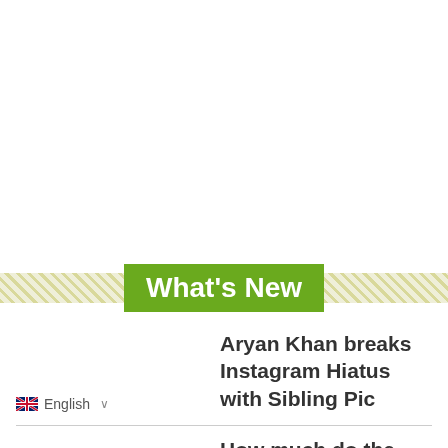What's New
Aryan Khan breaks Instagram Hiatus with Sibling Pic
English ∨
How much do the Cast of